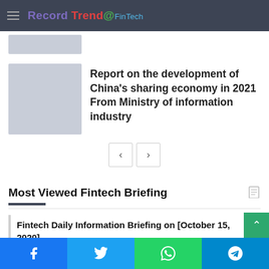Record Trend @ FinTech
[Figure (photo): Grey placeholder thumbnail image]
Report on the development of China's sharing economy in 2021 From Ministry of information industry
< > pagination buttons
Most Viewed Fintech Briefing
Fintech Daily Information Briefing on [October 15, 2020]
Fintech Daily Information Briefing on [October 28, 2020]